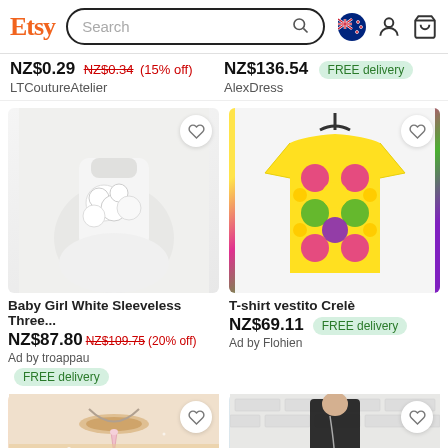Etsy Search
NZ$0.29 NZ$0.34 (15% off) LTCoutureAtelier
NZ$136.54 FREE delivery AlexDress
[Figure (photo): Baby Girl White Sleeveless Three-dimensional flower dress product photo]
[Figure (photo): T-shirt vestito Crelè colorful patterned t-shirt dress product photo]
Baby Girl White Sleeveless Three...
NZ$87.80 NZ$109.75 (20% off) Ad by troappau FREE delivery
T-shirt vestito Crelè
NZ$69.11 FREE delivery Ad by Flohien
[Figure (photo): Bottom left product – jewelry/necklace with pink crystal on golden base]
[Figure (photo): Bottom right product – black sleeveless vest with long necklace on white brick background]